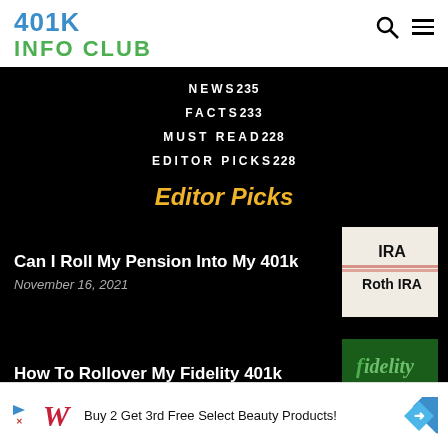401K INFO CLUB
NEWS 235
FACTS 233
MUST READ 228
EDITOR PICKS 228
Editor Picks
Can I Roll My Pension Into My 401k
November 16, 2021
[Figure (photo): Image showing IRA and Roth IRA text on paper]
How To Rollover My Fidelity 401k
November 9, 2021
[Figure (photo): Fidelity Investments logo/branding image]
Buy 2 Get 3rd Free Select Beauty Products!